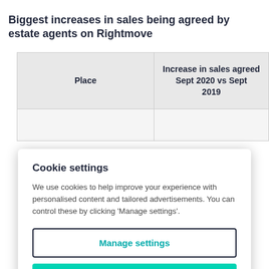Biggest increases in sales being agreed by estate agents on Rightmove
| Place | Increase in sales agreed Sept 2020 vs Sept 2019 |
| --- | --- |
Cookie settings
We use cookies to help improve your experience with personalised content and tailored advertisements. You can control these by clicking 'Manage settings'.
Manage settings